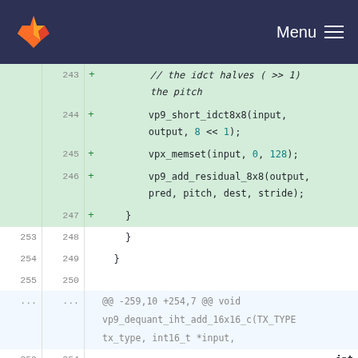GitLab Menu
Code diff showing changes to VP9 codec source file. Lines 243-262 with added and removed lines.
[Figure (screenshot): GitLab code diff view showing changes to a C source file with VP9 codec functions. Added lines (green background) show vp9_short_idct8x8, vpx_memset, and vp9_add_residual_8x8 calls. Normal lines show closing braces and DECLARE_ALIGNED_ARRAY macro. A removed line (red) shows: if (eob == 0) {]